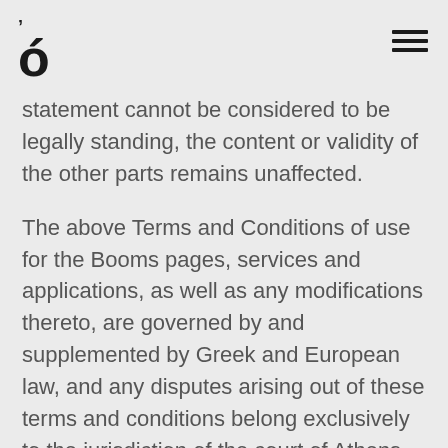ó ≡
statement cannot be considered to be legally standing, the content or validity of the other parts remains unaffected.
The above Terms and Conditions of use for the Booms pages, services and applications, as well as any modifications thereto, are governed by and supplemented by Greek and European law, and any disputes arising out of these terms and conditions belong exclusively to the jurisdiction of the court of Athens.